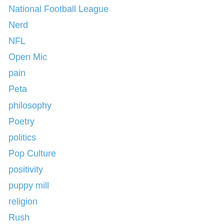National Football League
Nerd
NFL
Open Mic
pain
Peta
philosophy
Poetry
politics
Pop Culture
positivity
puppy mill
religion
Rush
Sci Fi
Science Fiction
self help
self improvement
Self-expression
sensitivity